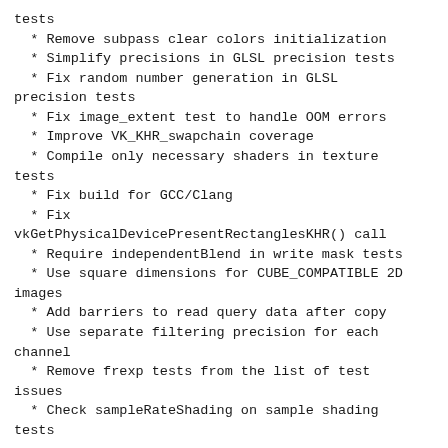tests
* Remove subpass clear colors initialization
* Simplify precisions in GLSL precision tests
* Fix random number generation in GLSL precision tests
* Fix image_extent test to handle OOM errors
* Improve VK_KHR_swapchain coverage
* Compile only necessary shaders in texture tests
* Fix build for GCC/Clang
* Fix vkGetPhysicalDevicePresentRectanglesKHR() call
* Require independentBlend in write mask tests
* Use square dimensions for CUBE_COMPATIBLE 2D images
* Add barriers to read query data after copy
* Use separate filtering precision for each channel
* Remove frexp tests from the list of test issues
* Check sampleRateShading on sample shading tests